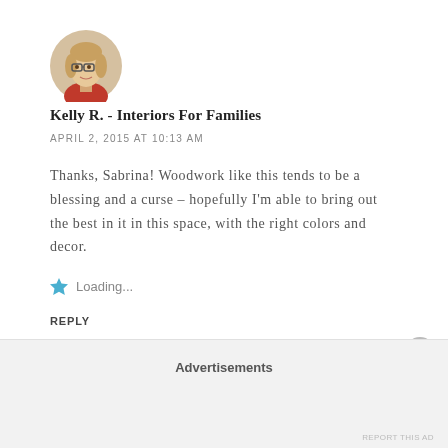[Figure (photo): Circular avatar photo of a woman with glasses and reddish top, brown/blonde hair]
Kelly R. - Interiors For Families
APRIL 2, 2015 AT 10:13 AM
Thanks, Sabrina! Woodwork like this tends to be a blessing and a curse – hopefully I'm able to bring out the best in it in this space, with the right colors and decor.
Loading...
REPLY
Advertisements
REPORT THIS AD